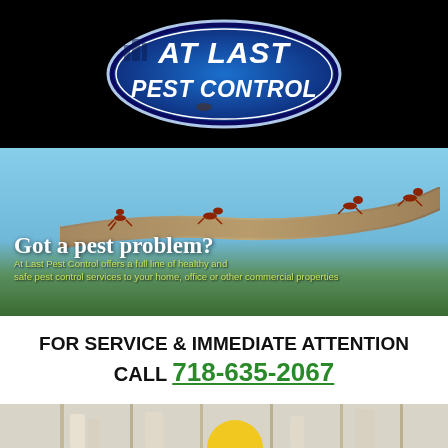[Figure (logo): At Last Pest Control oval logo with blue gradient background and white italic bold text on black background]
[Figure (photo): Photo of red ants on a branch with overlay text: 'Got a pest problem?' and 'At Last Pest Control offers a full line of healthy and safe pest control services to your home, office or other commercial properties']
FOR SERVICE & IMMEDIATE ATTENTION CALL 718-635-2067
[Figure (photo): Partial bottom photo showing interior shelves/cabinets with light tones]